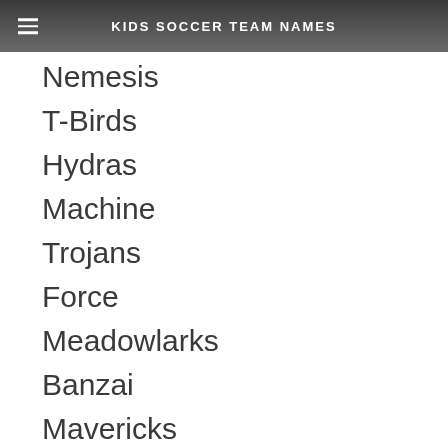KIDS SOCCER TEAM NAMES
Nemesis
T-Birds
Hydras
Machine
Trojans
Force
Meadowlarks
Banzai
Mavericks